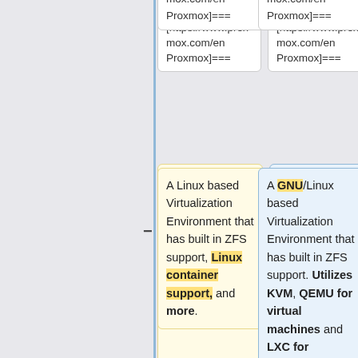=== [https://www.proxmox.com/en Proxmox]===
=== [https://www.proxmox.com/en Proxmox]===
A Linux based Virtualization Environment that has built in ZFS support, Linux container support, and more.
A GNU/Linux based Virtualization Environment that has built in ZFS support. Utilizes KVM, QEMU for virtual machines and LXC for containers.
Your CPU must support Virtualization in order to run Proxmox. (VT-x
Also Supports Ceph and GlusterFS for distributed storage and